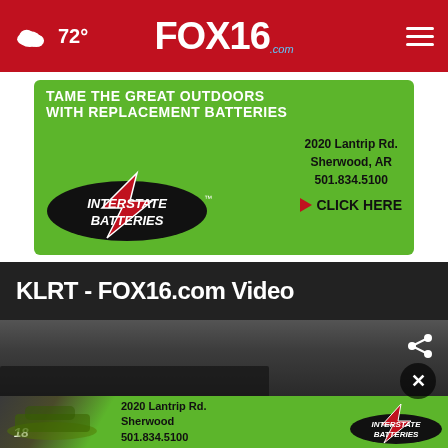72° FOX16.com
[Figure (screenshot): Interstate Batteries advertisement banner: TAME THE GREAT OUTDOORS WITH REPLACEMENT BATTERIES, 2020 Lantrip Rd. Sherwood, AR 501.834.5100, CLICK HERE]
KLRT - FOX16.com Video
[Figure (screenshot): Video player with dark background showing crowd scene, share icon top right, close button (X)]
[Figure (screenshot): Interstate Batteries bottom advertisement: NASCAR car #18, 2020 Lantrip Rd. Sherwood 501.834.5100, Interstate Batteries logo]